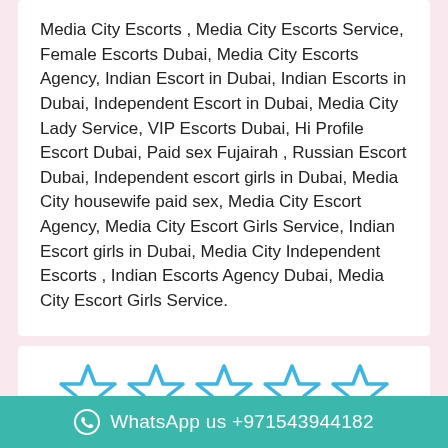Media City Escorts , Media City Escorts Service, Female Escorts Dubai, Media City Escorts Agency, Indian Escort in Dubai, Indian Escorts in Dubai, Independent Escort in Dubai, Media City Lady Service, VIP Escorts Dubai, Hi Profile Escort Dubai, Paid sex Fujairah , Russian Escort Dubai, Independent escort girls in Dubai, Media City housewife paid sex, Media City Escort Agency, Media City Escort Girls Service, Indian Escort girls in Dubai, Media City Independent Escorts , Indian Escorts Agency Dubai, Media City Escort Girls Service.
[Figure (other): Five empty star rating icons in cyan/blue outline]
Escort rating
0 reviews
WhatsApp us +971543944182